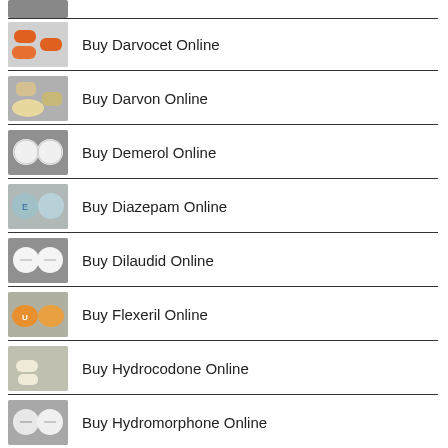Buy Darvocet Online
Buy Darvon Online
Buy Demerol Online
Buy Diazepam Online
Buy Dilaudid Online
Buy Flexeril Online
Buy Hydrocodone Online
Buy Hydromorphone Online